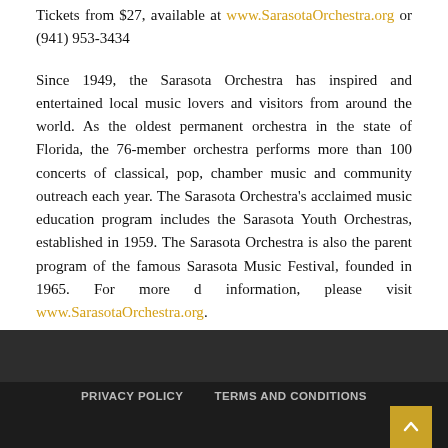Tickets from $27, available at www.SarasotaOrchestra.org or (941) 953-3434
Since 1949, the Sarasota Orchestra has inspired and entertained local music lovers and visitors from around the world. As the oldest permanent orchestra in the state of Florida, the 76-member orchestra performs more than 100 concerts of classical, pop, chamber music and community outreach each year. The Sarasota Orchestra’s acclaimed music education program includes the Sarasota Youth Orchestras, established in 1959. The Sarasota Orchestra is also the parent program of the famous Sarasota Music Festival, founded in 1965. For more d information, please visit www.SarasotaOrchestra.org.
PRIVACY POLICY    TERMS AND CONDITIONS